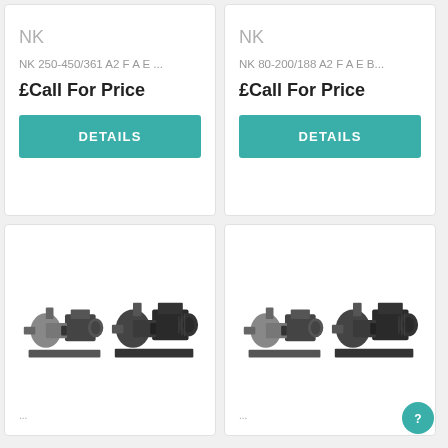NK
NK 250-450/361 A2 F A E ...
£Call For Price
DETAILS
NK
NK 80-200/188 A2 F A E B...
£Call For Price
DETAILS
[Figure (photo): Two industrial centrifugal pump units on base plates, shown side by side, dark grey/black color]
[Figure (photo): Two industrial centrifugal pump units on base plates, shown side by side, dark grey/black color]